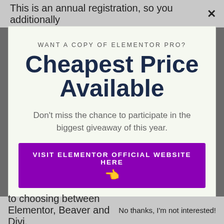This is an annual registration, so you additionally  ×
WANT A COPY OF ELEMENTOR PRO?
Cheapest Price Available
Don't miss the chance to participate in the biggest giveaway of this year.
VISIT ELEMENTOR OFFICIAL WEBSITE HERE 👈
to choosing between Elementor, Beaver and Divi.  No thanks, I'm not interested!